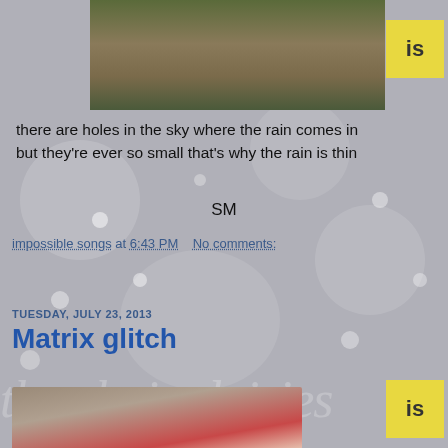[Figure (photo): Top photo of outdoor scene, garden/patio area with grass, partially visible]
[Figure (illustration): Yellow badge with text 'is' in top right corner]
there are holes in the sky where the rain comes in
but they're ever so small that's why the rain is thin
SM
impossible songs at 6:43 PM   No comments:
Share
TUESDAY, JULY 23, 2013
Matrix glitch
[Figure (photo): Close-up photo of what appears to be a bitten apple or food item on a wooden surface]